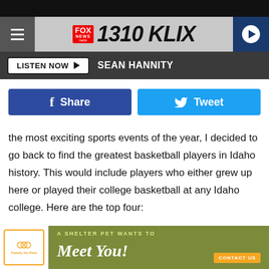[Figure (screenshot): 1310 KLIX Fox News Radio website header with hamburger menu, logo, and play button]
[Figure (screenshot): Listen Now button with Sean Hannity text on dark bar]
[Figure (screenshot): Facebook Share and Twitter Tweet social sharing buttons]
the most exciting sports events of the year, I decided to go back to find the greatest basketball players in Idaho history. This would include players who either grew up here or played their college basketball at any Idaho college. Here are the top four:
4. Luke Ridnour
[Figure (photo): Advertisement: A Shelter Pet Wants to Meet You! with dog photo and paw logo]